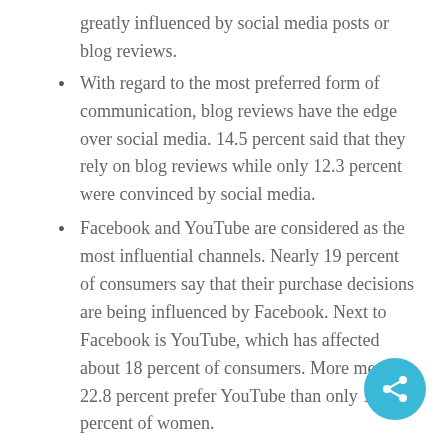greatly influenced by social media posts or blog reviews.
With regard to the most preferred form of communication, blog reviews have the edge over social media. 14.5 percent said that they rely on blog reviews while only 12.3 percent were convinced by social media.
Facebook and YouTube are considered as the most influential channels. Nearly 19 percent of consumers say that their purchase decisions are being influenced by Facebook. Next to Facebook is YouTube, which has affected about 18 percent of consumers. More men or 22.8 percent prefer YouTube than only 13.9 percent of women.
While Twitter is less often used by